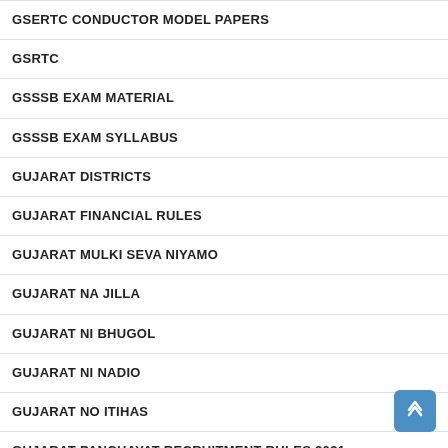GSERTC CONDUCTOR MODEL PAPERS
GSRTC
GSSSB EXAM MATERIAL
GSSSB EXAM SYLLABUS
GUJARAT DISTRICTS
GUJARAT FINANCIAL RULES
GUJARAT MULKI SEVA NIYAMO
GUJARAT NA JILLA
GUJARAT NI BHUGOL
GUJARAT NI NADIO
GUJARAT NO ITIHAS
GUJARAT PANCHAYAT RECRUITMENT RULES 2021
GUJARAT PIN CODE NUMBER LIST